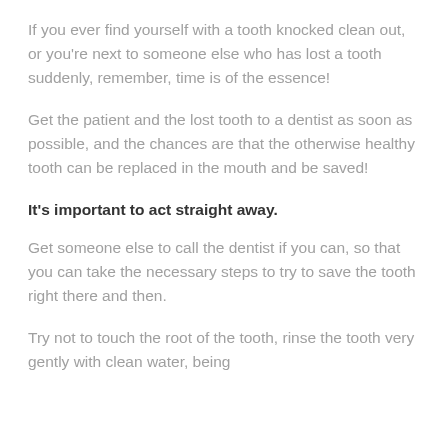If you ever find yourself with a tooth knocked clean out, or you're next to someone else who has lost a tooth suddenly, remember, time is of the essence!
Get the patient and the lost tooth to a dentist as soon as possible, and the chances are that the otherwise healthy tooth can be replaced in the mouth and be saved!
It's important to act straight away.
Get someone else to call the dentist if you can, so that you can take the necessary steps to try to save the tooth right there and then.
Try not to touch the root of the tooth, rinse the tooth very gently with clean water, being